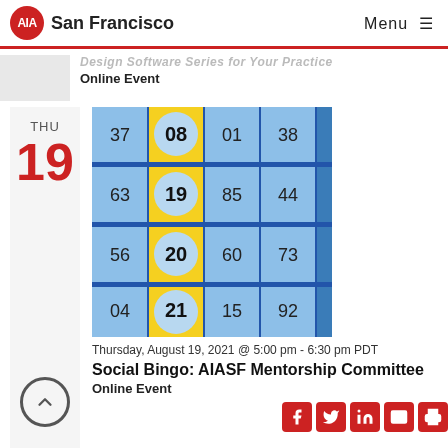AIA San Francisco   Menu
Design Software Series for Your Practice
Online Event
THU
19
[Figure (photo): Bingo board with colored squares showing numbers 37, 08, 01, 38, 63, 19, 85, 44, 56, 20, 60, 73, 04, 21, 15, 92 in blue and yellow cells]
Thursday, August 19, 2021 @ 5:00 pm - 6:30 pm PDT
Social Bingo: AIASF Mentorship Committee
Online Event